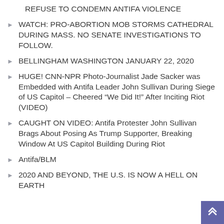REFUSE TO CONDEMN ANTIFA VIOLENCE
WATCH: PRO-ABORTION MOB STORMS CATHEDRAL DURING MASS. NO SENATE INVESTIGATIONS TO FOLLOW.
BELLINGHAM WASHINGTON JANUARY 22, 2020
HUGE! CNN-NPR Photo-Journalist Jade Sacker was Embedded with Antifa Leader John Sullivan During Siege of US Capitol – Cheered “We Did It!” After Inciting Riot (VIDEO)
CAUGHT ON VIDEO: Antifa Protester John Sullivan Brags About Posing As Trump Supporter, Breaking Window At US Capitol Building During Riot
Antifa/BLM
2020 AND BEYOND, THE U.S. IS NOW A HELL ON EARTH